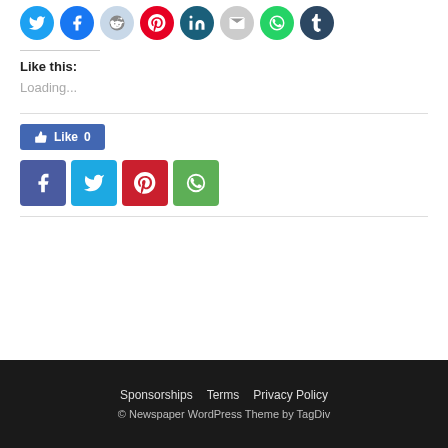[Figure (infographic): Row of circular social media share icons: Twitter (blue), Facebook (dark blue), Reddit (light gray-blue), Pinterest (red), LinkedIn (dark teal), Email (gray), WhatsApp (green), Tumblr (dark navy)]
Like this:
Loading...
[Figure (infographic): Facebook Like button showing thumbs up icon and text 'Like 0' on blue background]
[Figure (infographic): Four square social share buttons: Facebook (dark blue/purple), Twitter (cyan), Pinterest (red), WhatsApp (green)]
Sponsorships   Terms   Privacy Policy
© Newspaper WordPress Theme by TagDiv